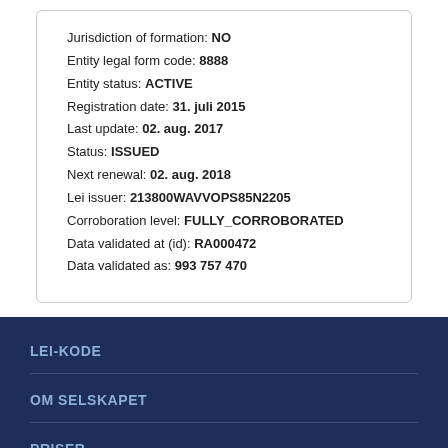Jurisdiction of formation: NO
Entity legal form code: 8888
Entity status: ACTIVE
Registration date: 31. juli 2015
Last update: 02. aug. 2017
Status: ISSUED
Next renewal: 02. aug. 2018
Lei issuer: 213800WAVVOPS85N2205
Corroboration level: FULLY_CORROBORATED
Data validated at (id): RA000472
Data validated as: 993 757 470
LEI-KODE
OM SELSKAPET
PRISER
NYEHETER OG PRESSEMELDINGER